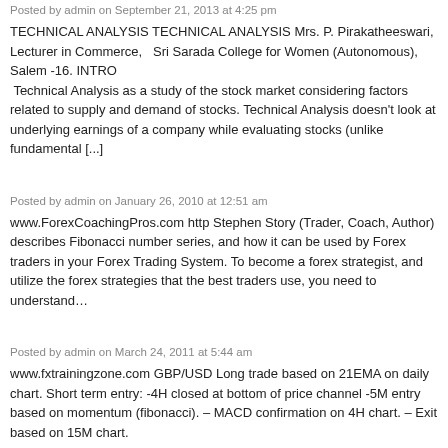Posted by admin on September 21, 2013 at 4:25 pm
TECHNICAL ANALYSIS TECHNICAL ANALYSIS Mrs. P. Pirakatheeswari, Lecturer in Commerce,  Sri Sarada College for Women (Autonomous), Salem -16. INTRO  Technical Analysis as a study of the stock market considering factors related to supply and demand of stocks. Technical Analysis doesn't look at underlying earnings of a company while evaluating stocks (unlike fundamental [...]
Posted by admin on January 26, 2010 at 12:51 am
www.ForexCoachingPros.com http Stephen Story (Trader, Coach, Author) describes Fibonacci number series, and how it can be used by Forex traders in your Forex Trading System. To become a forex strategist, and utilize the forex strategies that the best traders use, you need to understand…
Posted by admin on March 24, 2011 at 5:44 am
www.fxtrainingzone.com GBP/USD Long trade based on 21EMA on daily chart. Short term entry: -4H closed at bottom of price channel -5M entry based on momentum (fibonacci). – MACD confirmation on 4H chart. – Exit based on 15M chart.
Still cannot find the things that you looking for? try to use our search form belo